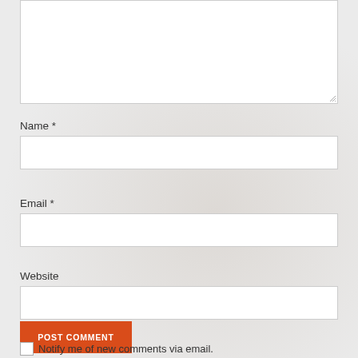[Figure (screenshot): Comment form textarea (top portion visible, empty white box with resize handle)]
Name *
[Figure (screenshot): Name input field (empty white text box)]
Email *
[Figure (screenshot): Email input field (empty white text box)]
Website
[Figure (screenshot): Website input field (empty white text box)]
POST COMMENT
Notify me of new comments via email.